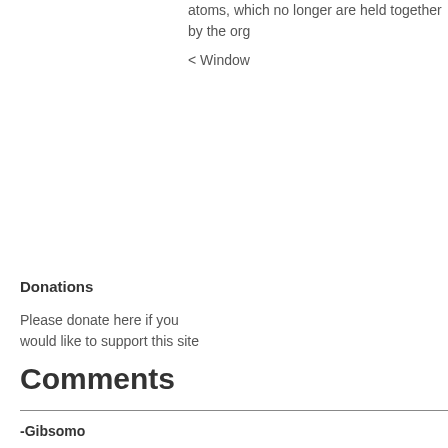atoms, which no longer are held together by the org
< Window
Donations
Please donate here if you would like to support this site
Comments
-Gibsomo
2011-12-13 11:53:54
Please help me interpret this dream.
I dreamt I was preparing for winter and was getting all my winter clothes together. was gathering my winter clothes I kept saying “I will not be cold” and I knew that I definitely wouldn’t with all the clothing I had to hand.
-Grace